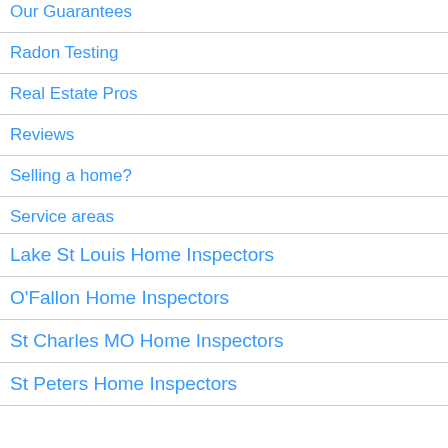Our Guarantees
Radon Testing
Real Estate Pros
Reviews
Selling a home?
Service areas
Lake St Louis Home Inspectors
O'Fallon Home Inspectors
St Charles MO Home Inspectors
St Peters Home Inspectors